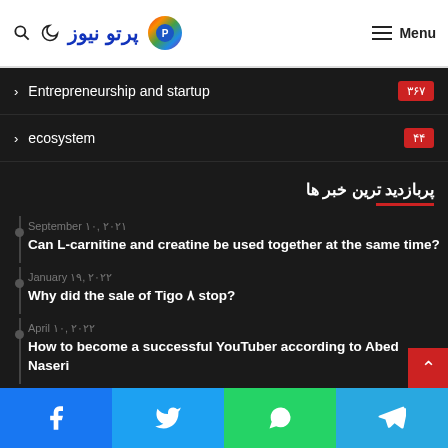پرتو نیوز — Menu
Entrepreneurship and startup ۳۶۷
ecosystem ۴۴
پربازدید ترین خبر ها
September ۱۰, ۲۰۲۱
Can L-carnitine and creatine be used together at the same time?
January ۱۹, ۲۰۲۲
Why did the sale of Tigo ۸ stop?
April ۱۰, ۲۰۲۲
How to become a successful YouTuber according to Abed Naseri
Facebook | Twitter | WhatsApp | Telegram